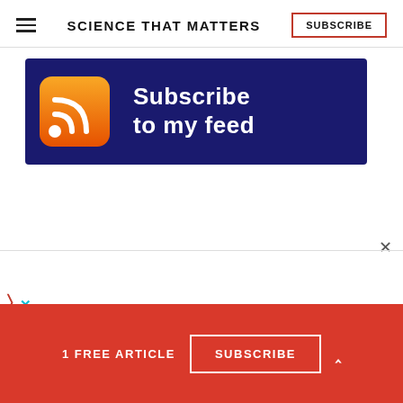SCIENCE THAT MATTERS | SUBSCRIBE
[Figure (illustration): RSS feed subscription banner: dark navy blue background with an orange RSS feed icon on the left and white text 'Subscribe to my feed' on the right.]
×
〉 ✗
1 FREE ARTICLE  SUBSCRIBE  ˄